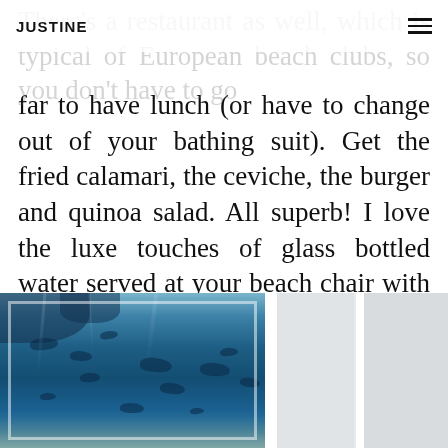JUSTINE
There's a restaurant as well, which is typical of European beach clubs, so you don't have to go far to have lunch (or have to change out of your bathing suit). Get the fried calamari, the ceviche, the burger and quinoa salad. All superb! I love the luxe touches of glass bottled water served at your beach chair with ice and lemon slices. It makes baking out in the hot sun, quite tolerable.
[Figure (photo): Underwater scene showing fish swimming in blue water, framed photograph]